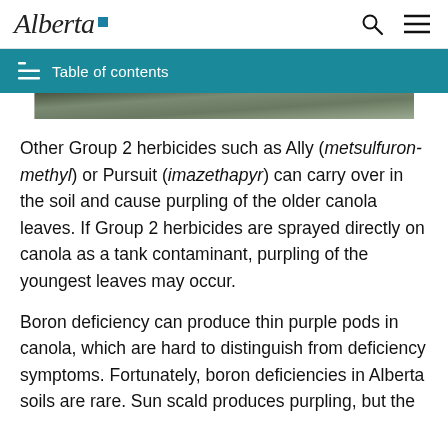Alberta [logo] | search | menu
Table of contents
[Figure (photo): Partial view of a cropped photo, likely showing canola plant or field]
Other Group 2 herbicides such as Ally (metsulfuron-methyl) or Pursuit (imazethapyr) can carry over in the soil and cause purpling of the older canola leaves. If Group 2 herbicides are sprayed directly on canola as a tank contaminant, purpling of the youngest leaves may occur.
Boron deficiency can produce thin purple pods in canola, which are hard to distinguish from deficiency symptoms. Fortunately, boron deficiencies in Alberta soils are rare. Sun scald produces purpling, but the